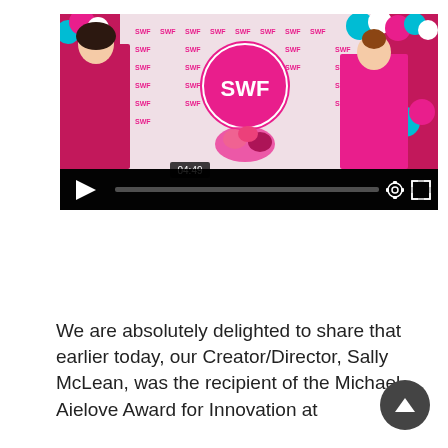[Figure (screenshot): Video player screenshot showing two women at an SWF (Scottish Women's Forum) event with pink and teal balloons in the background. One woman wears a red/pink dress, the other wears a pink blazer. A large SWF logo balloon is visible. The video controls show a play button, timestamp 04:49, progress bar, settings gear icon, and fullscreen icon.]
We are absolutely delighted to share that earlier today, our Creator/Director, Sally McLean, was the recipient of the Michael Aielove Award for Innovation at